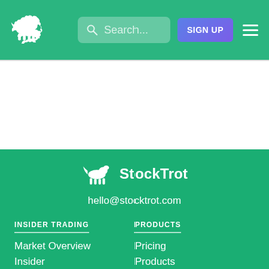StockTrot navigation bar with logo, search, SIGN UP button, and hamburger menu
[Figure (logo): StockTrot horse logo and brand name in footer with email hello@stocktrot.com]
INSIDER TRADING
Market Overview
Insider Transactions
Top Movers
PRODUCTS
Pricing
Products
Announcements